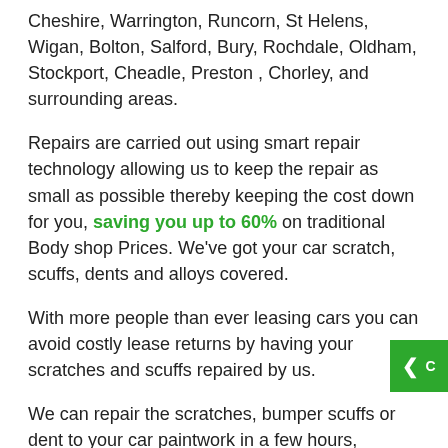Cheshire, Warrington, Runcorn, St Helens, Wigan, Bolton, Salford, Bury, Rochdale, Oldham, Stockport, Cheadle, Preston , Chorley, and surrounding areas.
Repairs are carried out using smart repair technology allowing us to keep the repair as small as possible thereby keeping the cost down for you, saving you up to 60% on traditional Body shop Prices. We've got your car scratch, scuffs, dents and alloys covered.
With more people than ever leasing cars you can avoid costly lease returns by having your scratches and scuffs repaired by us.
We can repair the scratches, bumper scuffs or dent to your car paintwork in a few hours, making an insurance claim unnecessary keeping your no claims bonus intact and the cost of the repair is usually under your policy excess cost. All repairs are carried out using body shop